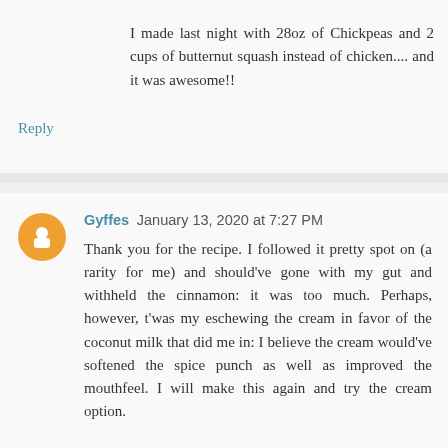I made last night with 28oz of Chickpeas and 2 cups of butternut squash instead of chicken.... and it was awesome!!
Reply
Gyffes January 13, 2020 at 7:27 PM
Thank you for the recipe. I followed it pretty spot on (a rarity for me) and should've gone with my gut and withheld the cinnamon: it was too much. Perhaps, however, t'was my eschewing the cream in favor of the coconut milk that did me in: I believe the cream would've softened the spice punch as well as improved the mouthfeel. I will make this again and try the cream option.